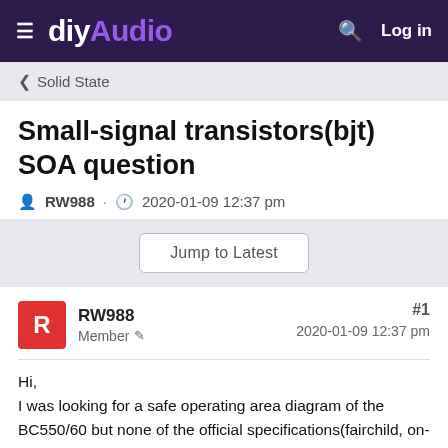≡ diyAudio  🔍 Log in
< Solid State
Small-signal transistors(bjt) SOA question
RW988 · 2020-01-09 12:37 pm
Jump to Latest
RW988
Member
#1
2020-01-09 12:37 pm
Hi,
I was looking for a safe operating area diagram of the BC550/60 but none of the official specifications(fairchild, on-semi, cdil) contained it. There are absolute maximum ratings, but conditions for Ic or Vce were not included. Most of the bipolar junction transistor operating area is indicated by